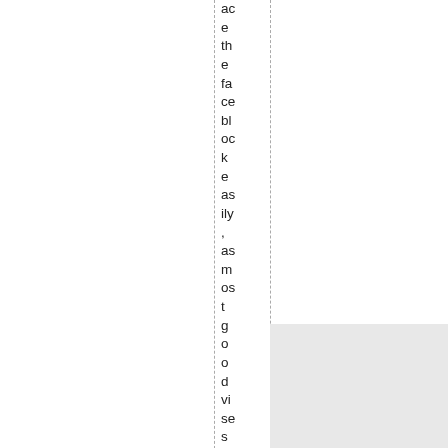ace the faceblock easily, as most good vises can.
[Figure (other): Gray rectangle box in the bottom right area of the page]